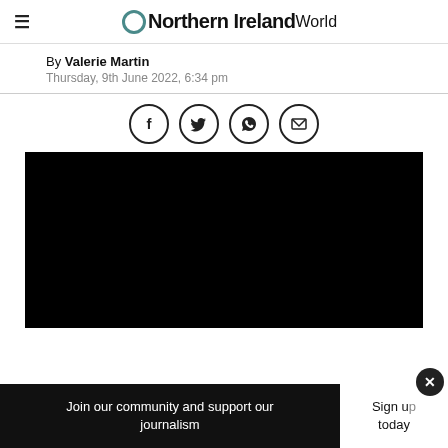Northern Ireland World
By Valerie Martin
Thursday, 9th June 2022, 6:34 pm
[Figure (other): Social sharing icons: Facebook, Twitter, WhatsApp, Email — each in a circle]
[Figure (photo): Large black image area (article photo, not loaded)]
Join our community and support our journalism
Sign up today